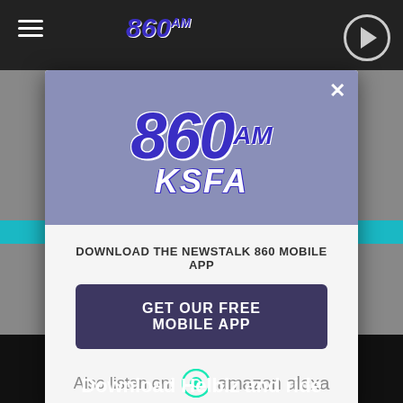[Figure (screenshot): Background website page for 860AM KSFA radio station with dark header bar, hamburger menu, play button, and advertisement banner at bottom]
[Figure (logo): 860AM KSFA radio station logo — large purple bold italic '860' with 'AM' superscript and white bold italic 'KSFA' below, on a blue-grey background]
DOWNLOAD THE NEWSTALK 860 MOBILE APP
GET OUR FREE MOBILE APP
Also listen on:  amazon alexa
Download Helbiz and ride